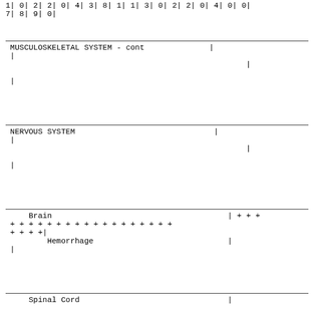1| 0| 2| 2| 0| 4| 3| 8| 1| 1| 3| 0| 2| 2| 0| 4| 0| 0|
7| 8| 9| 0|
MUSCULOSKELETAL SYSTEM - cont
|
|
|
NERVOUS SYSTEM
|
|
|
Brain                                          | + + +
+ + + + + + + + + + + + + + + + + +
+ + + +|
        Hemorrhage                             |
|
Spinal Cord                                    |